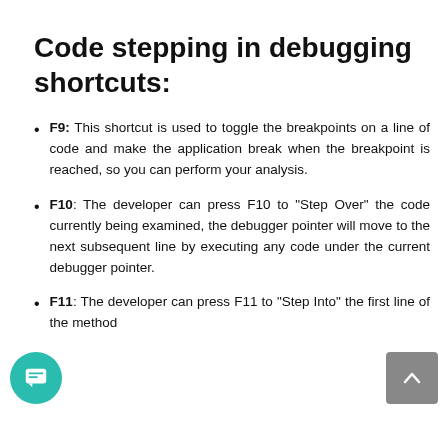Code stepping in debugging shortcuts:
F9: This shortcut is used to toggle the breakpoints on a line of code and make the application break when the breakpoint is reached, so you can perform your analysis.
F10: The developer can press F10 to “Step Over” the code currently being examined, the debugger pointer will move to the next subsequent line by executing any code under the current debugger pointer.
F11: The developer can press F11 to “Step Into” the first line of the method